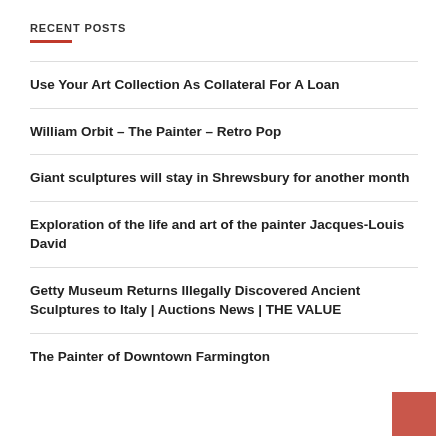RECENT POSTS
Use Your Art Collection As Collateral For A Loan
William Orbit – The Painter – Retro Pop
Giant sculptures will stay in Shrewsbury for another month
Exploration of the life and art of the painter Jacques-Louis David
Getty Museum Returns Illegally Discovered Ancient Sculptures to Italy | Auctions News | THE VALUE
The Painter of Downtown Farmington